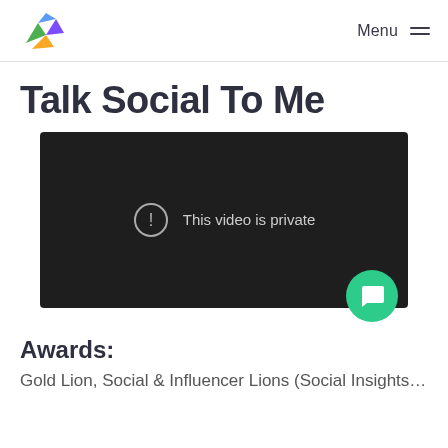Logo | Menu
Talk Social To Me
[Figure (screenshot): A dark video player showing the message 'This video is private' with a circle exclamation icon.]
Awards:
Gold Lion, Social & Influencer Lions (Social Insights…